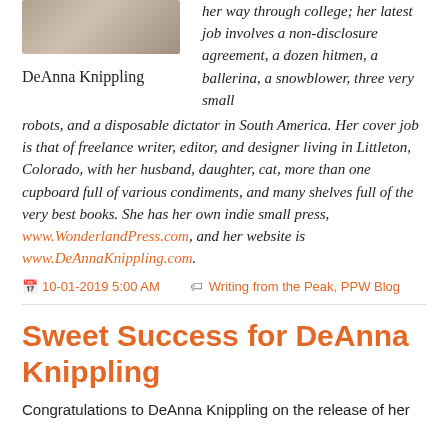[Figure (photo): Partial photo of DeAnna Knippling, cropped at top]
DeAnna Knippling
her way through college; her latest job involves a non-disclosure agreement, a dozen hitmen, a ballerina, a snowblower, three very small robots, and a disposable dictator in South America. Her cover job is that of freelance writer, editor, and designer living in Littleton, Colorado, with her husband, daughter, cat, more than one cupboard full of various condiments, and many shelves full of the very best books. She has her own indie small press, www.WonderlandPress.com, and her website is www.DeAnnaKnippling.com.
10-01-2019 5:00 AM   Writing from the Peak, PPW Blog
Sweet Success for DeAnna Knippling
Congratulations to DeAnna Knippling on the release of her